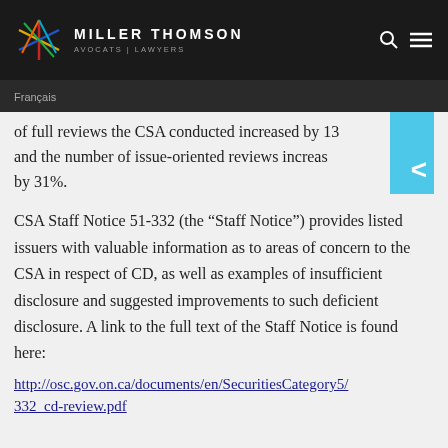MILLER THOMSON AVOCATS | LAWYERS
Français
of full reviews the CSA conducted increased by 13 and the number of issue-oriented reviews increased by 31%.
CSA Staff Notice 51-332 (the “Staff Notice”) provides listed issuers with valuable information as to areas of concern to the CSA in respect of CD, as well as examples of insufficient disclosure and suggested improvements to such deficient disclosure. A link to the full text of the Staff Notice is found here: http://osc.gov.on.ca/documents/en/SecuritiesCategory5/332_cd-review.pdf